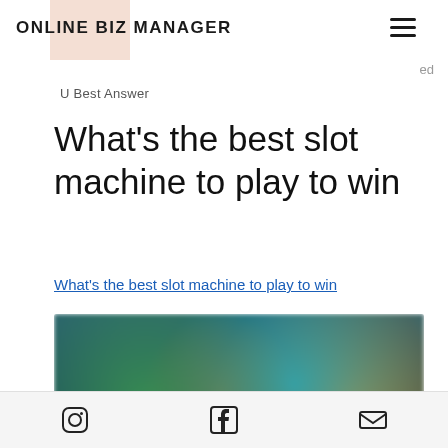ONLINE BIZ MANAGER
ed
U Best Answer
What's the best slot machine to play to win
What's the best slot machine to play to win
[Figure (photo): Blurred screenshot of a colorful slot machine game with animated characters on a dark teal background]
Instagram | Facebook | Email icons